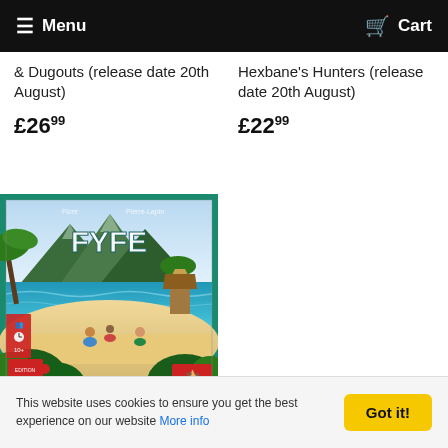Menu | Cart
& Dugouts (release date 20th August)
£26.99
Hexbane's Hunters (release date 20th August)
£22.99
[Figure (photo): FYFE board game box art showing a tropical beach scene with mountains, palm trees, huts, and people on the beach. Publisher logos visible at bottom corners.]
This website uses cookies to ensure you get the best experience on our website More info
Got it!